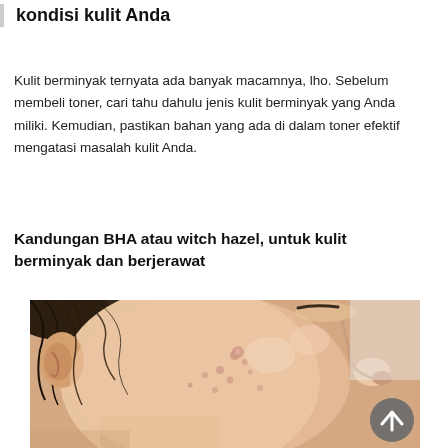kondisi kulit Anda
Kulit berminyak ternyata ada banyak macamnya, lho. Sebelum membeli toner, cari tahu dahulu jenis kulit berminyak yang Anda miliki. Kemudian, pastikan bahan yang ada di dalam toner efektif mengatasi masalah kulit Anda.
Kandungan BHA atau witch hazel, untuk kulit berminyak dan berjerawat
[Figure (photo): Side profile close-up of a woman's face showing oily skin with acne/pimple marks on cheek, with hair pulled back. A dark circular scroll-to-top button is visible in the bottom right corner of the image.]